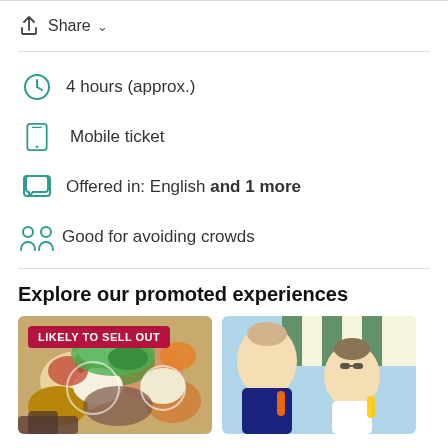Share
4 hours (approx.)
Mobile ticket
Offered in: English and 1 more
Good for avoiding crowds
Explore our promoted experiences
[Figure (photo): Food spread with label LIKELY TO SELL OUT]
[Figure (photo): People at a market eating]